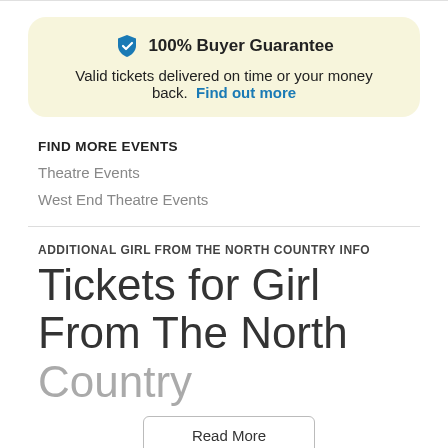[Figure (infographic): 100% Buyer Guarantee badge with shield icon in a yellow/cream rounded box. Text: Valid tickets delivered on time or your money back. Find out more.]
FIND MORE EVENTS
Theatre Events
West End Theatre Events
ADDITIONAL GIRL FROM THE NORTH COUNTRY INFO
Tickets for Girl From The North Country
Read More